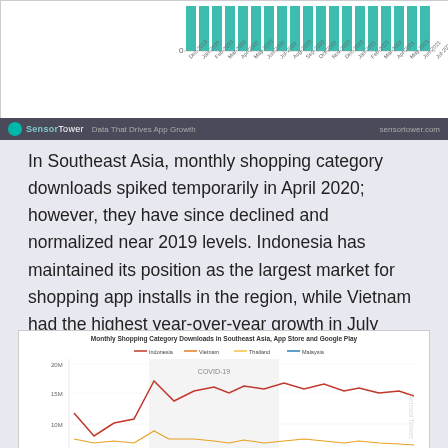[Figure (bar-chart): Partial bar chart showing monthly shopping category downloads (Dec 2019 – Jul 2021), top portion only visible with teal/green bars and x-axis date labels]
[Figure (other): SensorTower branding bar: logo, 'Data That Drives App Growth', sensortower.com]
In Southeast Asia, monthly shopping category downloads spiked temporarily in April 2020; however, they have since declined and normalized near 2019 levels. Indonesia has maintained its position as the largest market for shopping app installs in the region, while Vietnam had the highest year-over-year growth in July 2021.
[Figure (line-chart): Partial line chart showing monthly downloads for Indonesia, Vietnam, Thailand, Malaysia from Dec 2019 to Jul 2021. COVID-19 annotation visible. Y-axis shows 10M, 15M, 20M. Indonesia (red line) highest around 15-16M.]